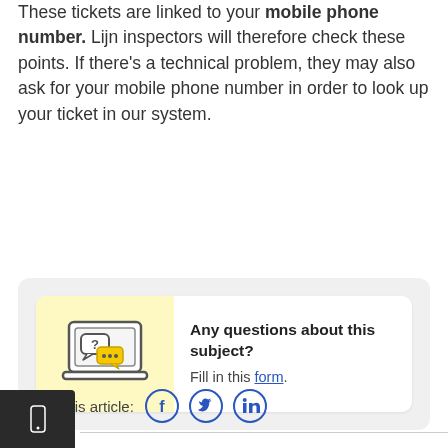These tickets are linked to your mobile phone number. Lijn inspectors will therefore check these points. If there's a technical problem, they may also ask for your mobile phone number in order to look up your ticket in our system.
[Figure (infographic): Info card with laptop/chat bubble icon on yellow background. Title: Any questions about this subject? Body: Fill in this form.]
Share this article: